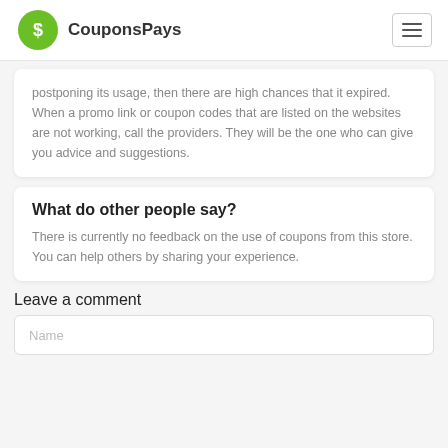CouponsPays
postponing its usage, then there are high chances that it expired. When a promo link or coupon codes that are listed on the websites are not working, call the providers. They will be the one who can give you advice and suggestions.
What do other people say?
There is currently no feedback on the use of coupons from this store. You can help others by sharing your experience.
Leave a comment